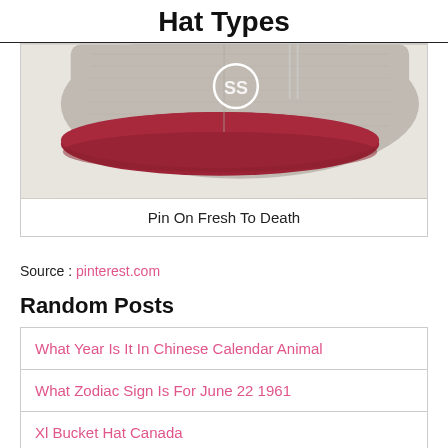Hat Types
[Figure (photo): A gray and red brim snapback hat (Stussy logo visible) photographed from front/side angle on white background.]
Pin On Fresh To Death
Source : pinterest.com
Random Posts
What Year Is It In Chinese Calendar Animal
What Zodiac Sign Is For June 22 1961
Xl Bucket Hat Canada